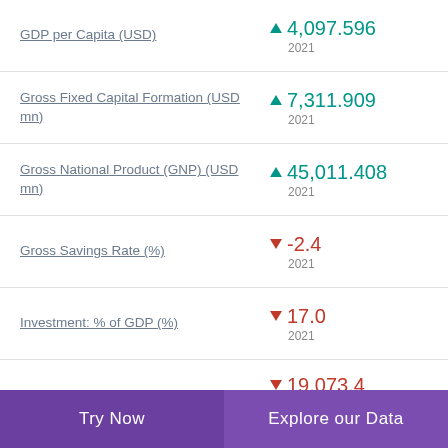GDP per Capita (USD) ▲ 4,097.596 2021
Gross Fixed Capital Formation (USD mn) ▲ 7,311.909 2021
Gross National Product (GNP) (USD mn) ▲ 45,011.408 2021
Gross Savings Rate (%) ▼ -2.4 2021
Investment: % of GDP (%) ▼ 17.0 2021
▼ 19,073.4 (partial)